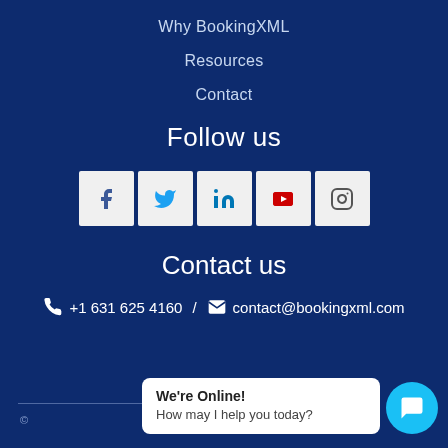Why BookingXML
Resources
Contact
Follow us
[Figure (other): Social media icons: Facebook, Twitter, LinkedIn, YouTube, Instagram]
Contact us
+1 631 625 4160 / contact@bookingxml.com
[Figure (other): Live chat widget showing 'We're Online! How may I help you today?']